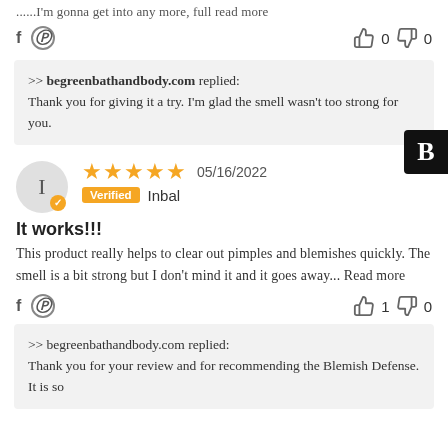...I'm gonna get into any more, full read more
Social share and vote row (thumbs up: 0, thumbs down: 0)
>> begreenbathandbody.com replied: Thank you for giving it a try. I'm glad the smell wasn't too strong for you.
★★★★★ 05/16/2022 Verified Inbal
It works!!!
This product really helps to clear out pimples and blemishes quickly. The smell is a bit strong but I don't mind it and it goes away... Read more
Social share and vote row (thumbs up: 1, thumbs down: 0)
>> begreenbathandbody.com replied: Thank you for your review and for recommending the Blemish Defense. It is so